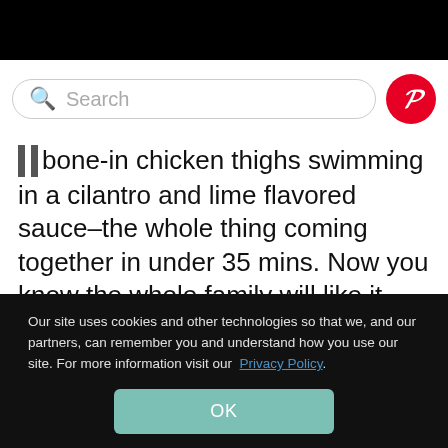[Figure (screenshot): Search bar with magnifying glass icon on left and Pinterest logo button (red circle with white P) on right]
bone-in chicken thighs swimming in a cilantro and lime flavored sauce–the whole thing coming together in under 35 mins. Now you know the whole family will like it.
TRY THIS FOR DINNER!
Our site uses cookies and other technologies so that we, and our partners, can remember you and understand how you use our site. For more information visit our Privacy Policy.